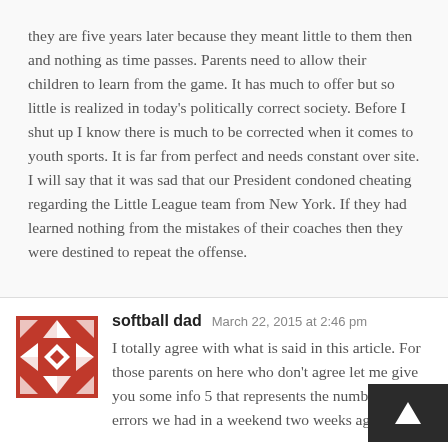they are five years later because they meant little to them then and nothing as time passes. Parents need to allow their children to learn from the game. It has much to offer but so little is realized in today's politically correct society. Before I shut up I know there is much to be corrected when it comes to youth sports. It is far from perfect and needs constant over site. I will say that it was sad that our President condoned cheating regarding the Little League team from New York. If they had learned nothing from the mistakes of their coaches then they were destined to repeat the offense.
softball dad  March 22, 2015 at 2:46 pm
I totally agree with what is said in this article. For those parents on here who don't agree let me give you some info 5 that represents the number of errors we had in a weekend two weeks ago at a